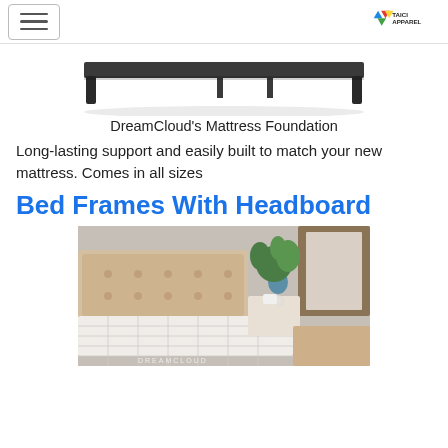[hamburger menu button] [TAICI APPAREL logo]
[Figure (photo): DreamCloud's Mattress Foundation — a dark grey/black low-profile bed frame with legs, shown on white background]
DreamCloud's Mattress Foundation
Long-lasting support and easily built to match your new mattress. Comes in all sizes
Bed Frames With Headboard
[Figure (photo): A bedroom scene showing a bed with an upholstered headboard, white quilted mattress, a green fern plant in a blue vase on the nightstand, a coffee mug, and a rustic concrete-textured wall with a wooden window frame. DreamCloud branding visible at bottom.]